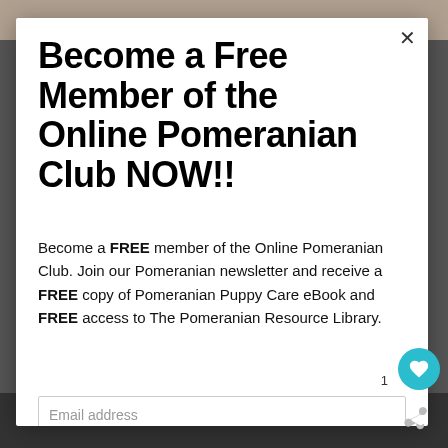Become a Free Member of the Online Pomeranian Club NOW!!
Become a FREE member of the Online Pomeranian Club. Join our Pomeranian newsletter and receive a FREE copy of Pomeranian Puppy Care eBook and FREE access to The Pomeranian Resource Library.
Email address